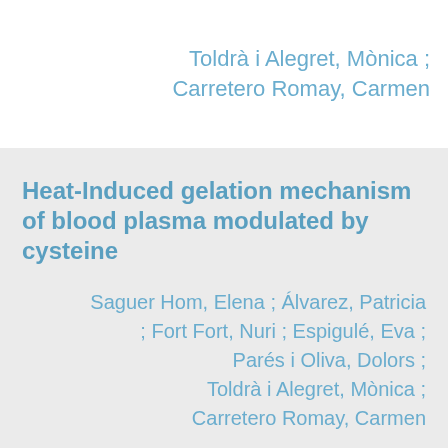Toldrà i Alegret, Mònica ; Carretero Romay, Carmen
Heat-Induced gelation mechanism of blood plasma modulated by cysteine
Saguer Hom, Elena ; Álvarez, Patricia ; Fort Fort, Nuri ; Espigulé, Eva ; Parés i Oliva, Dolors ; Toldrà i Alegret, Mònica ; Carretero Romay, Carmen